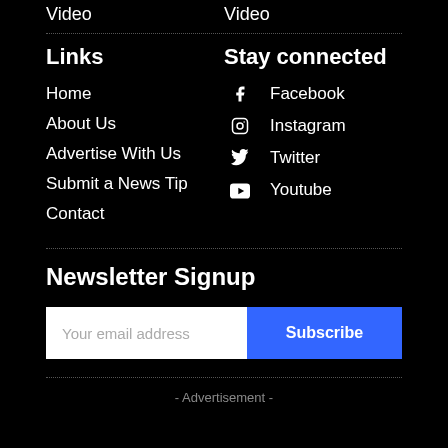Video
Video
Links
Stay connected
Home
About Us
Advertise With Us
Submit a News Tip
Contact
Facebook
Instagram
Twitter
Youtube
Newsletter Signup
Your email address
Subscribe
- Advertisement -